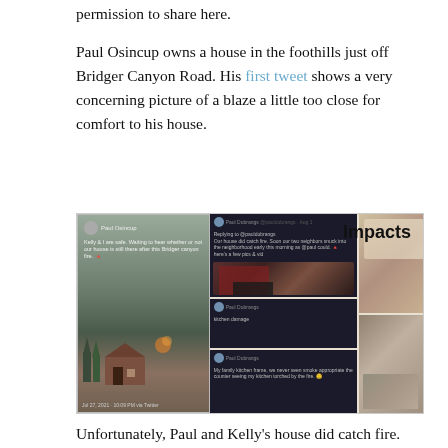permission to share here.
Paul Osincup owns a house in the foothills just off Bridger Canyon Road. His first tweet shows a very concerning picture of a blaze a little too close for comfort to his house.
[Figure (photo): Composite image showing tweets from Paul Osincup and Paul Dobrangs about a wildfire near Bridger Canyon Road, with photos of fire damage to a house. Left panel shows a tweet with a smoky landscape photo of a house with fire glow visible. Right panels show dark-themed tweet screenshots and fire/kitchen damage photos. The word 'Impacts' appears in bold in the upper right.]
Unfortunately, Paul and Kelly's house did catch fire. But fortunately, they were lucky that neighbours were on hand to…